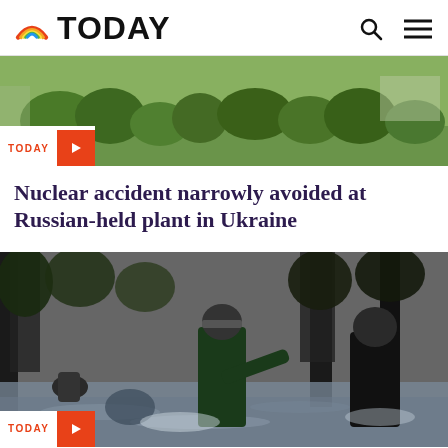TODAY
[Figure (screenshot): Outdoor scene with green trees and park-like landscape, video thumbnail with TODAY badge and play button overlay]
Nuclear accident narrowly avoided at Russian-held plant in Ukraine
[Figure (screenshot): Flood rescue scene showing people wading through fast-moving floodwater among trees, video thumbnail with TODAY badge and play button overlay]